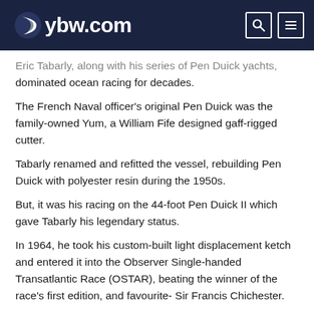ybw.com
Eric Tabarly, along with his series of Pen Duick yachts, dominated ocean racing for decades.
The French Naval officer's original Pen Duick was the family-owned Yum, a William Fife designed gaff-rigged cutter.
Tabarly renamed and refitted the vessel, rebuilding Pen Duick with polyester resin during the 1950s.
But, it was his racing on the 44-foot Pen Duick II which gave Tabarly his legendary status.
In 1964, he took his custom-built light displacement ketch and entered it into the Observer Single-handed Transatlantic Race (OSTAR), beating the winner of the race's first edition, and favourite- Sir Francis Chichester.
For beating the British at their own challenge, Tabarly was awarded France's Legion D'Honneur. He also received the